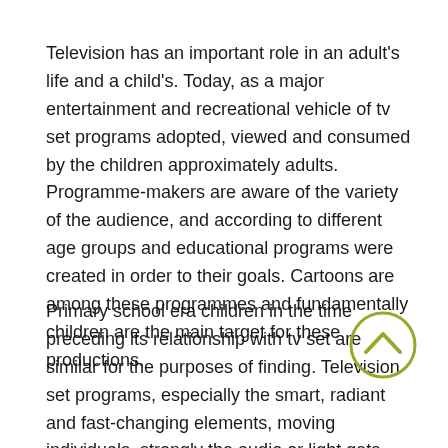Television has an important role in an adult's life and a child's. Today, as a major entertainment and recreational vehicle of tv set programs adopted, viewed and consumed by the children approximately adults. Programme-makers are aware of the variety of the audience, and according to different age groups and educational programs were created in order to their goals. Cartoons are among these programmes and fundamentally children are the main target for these productions.
Primary school era children in the time preceding its relationship with tv set are similar for the purposes of finding. Television set programs, especially the smart, radiant and fast-changing elements, moving individuals, strongly the audio or light gets children's attention and affects them. Pre-school children talk with violence watching television cartoons and which makes them
[Figure (other): A circular scroll-up button with a chevron (upward arrow) icon, outlined in olive/yellow-green color]